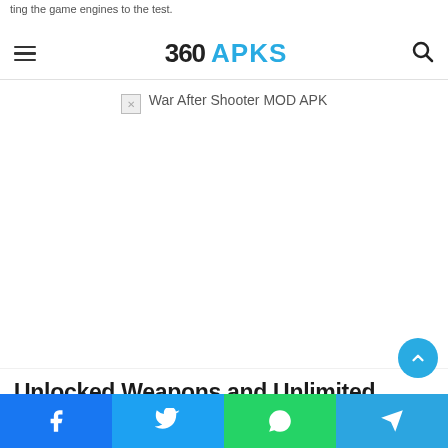360 APKS
[Figure (screenshot): Broken image placeholder with label 'War After Shooter MOD APK']
Unlocked Weapons and Unlimited Ammo in War After Shooter MOD APK
[Figure (other): Bottom social share bar with Facebook, Twitter, WhatsApp, Telegram buttons]